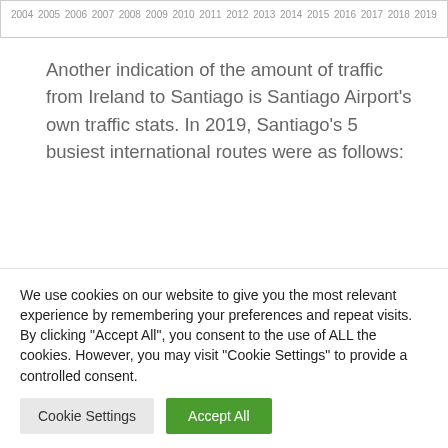[Figure (continuous-plot): Partial view of a line/area chart showing years 2004 through 2019 on the x-axis]
Another indication of the amount of traffic from Ireland to Santiago is Santiago Airport's own traffic stats. In 2019, Santiago's 5 busiest international routes were as follows:
| Rank | City | Passengers | % change year | Carrier |
| --- | --- | --- | --- | --- |
We use cookies on our website to give you the most relevant experience by remembering your preferences and repeat visits. By clicking "Accept All", you consent to the use of ALL the cookies. However, you may visit "Cookie Settings" to provide a controlled consent.